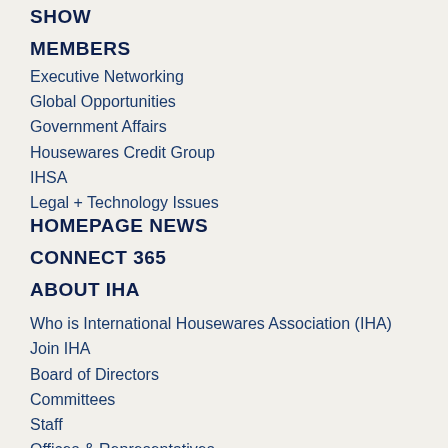SHOW
MEMBERS
Executive Networking
Global Opportunities
Government Affairs
Housewares Credit Group
IHSA
Legal + Technology Issues
HOMEPAGE NEWS
CONNECT 365
ABOUT IHA
Who is International Housewares Association (IHA)
Join IHA
Board of Directors
Committees
Staff
Offices & Representatives
IHA History
MOBILE APP